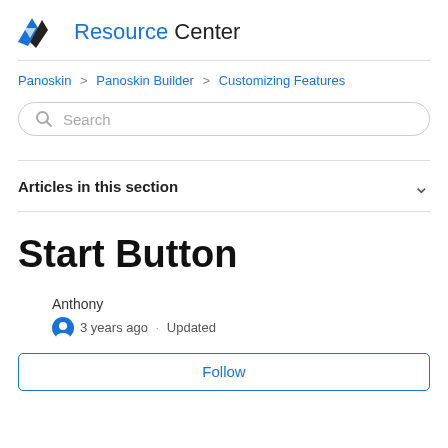Resource Center
Panoskin > Panoskin Builder > Customizing Features
Search
Articles in this section
Start Button
Anthony
3 years ago · Updated
Follow